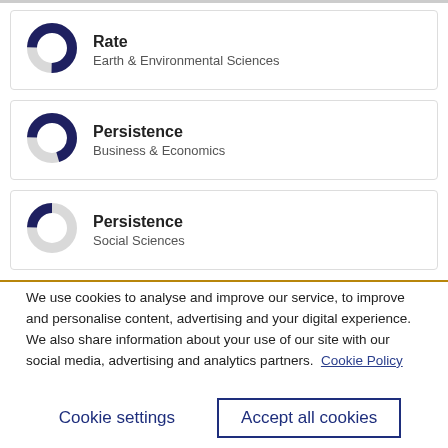[Figure (donut-chart): Donut chart showing rate for Earth & Environmental Sciences, approximately 75% filled in dark navy blue]
[Figure (donut-chart): Donut chart showing persistence for Business & Economics, approximately 70% filled in dark navy blue]
[Figure (donut-chart): Donut chart showing persistence for Social Sciences, approximately 25% filled in dark navy blue]
We use cookies to analyse and improve our service, to improve and personalise content, advertising and your digital experience. We also share information about your use of our site with our social media, advertising and analytics partners.  Cookie Policy
Cookie settings
Accept all cookies